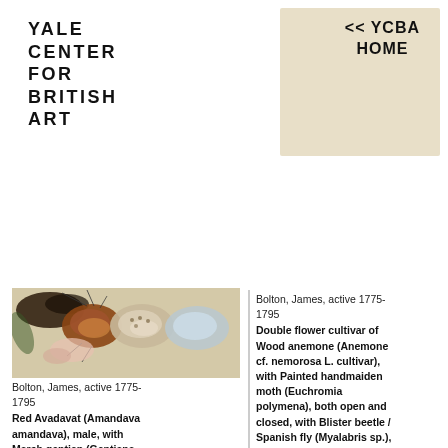YALE CENTER FOR BRITISH ART
<< YCBA HOME
[Figure (photo): Close-up illustration of insects, shells, and natural history specimens on a cream/tan background]
Bolton, James, active 1775-1795
Red Avadavat (Amandava amandava), male, with Marsh gentian (Gentiana pneumonanthe L.) and (Lepidoptera Nymphalidae Pyrrhogyra sp.), common sawfly (Hymenoptera ? Tenthredinidae), and (Heliconius wallacei flavescens), Fluminense
Bolton, James, active 1775-1795
Double flower cultivar of Wood anemone (Anemone cf. nemorosa L. cultivar), with Painted handmaiden moth (Euchromia polymena), both open and closed, with Blister beetle / Spanish fly (Myalabris sp.), Sawyer beetle (? Monochamus sp.) and (Cypraea pantherina Lightfoot, 1786), from the natural history cabinet of